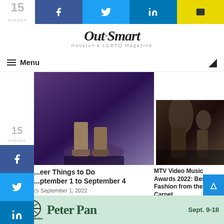15 SHARES | Facebook | Twitter | LinkedIn | Email
[Figure (logo): OutSmart Houston's LGBTQ Magazine logo]
Menu navigation bar with hamburger menu and moon/dark mode icon
[Figure (photo): Photo of person's legs/boots on a dance floor for Queer Things to Do article]
[Figure (photo): Photo of person at MTV Video Music Awards red carpet]
...eer Things to Do
...ptember 1 to September 4
September 1, 2022
MTV Video Music Awards 2022: Best Fashion from the Red Carpet
August 29, 2022
Leave a Reply
[Figure (other): Houston Ballet Peter Pan advertisement - Sept. 9-18]